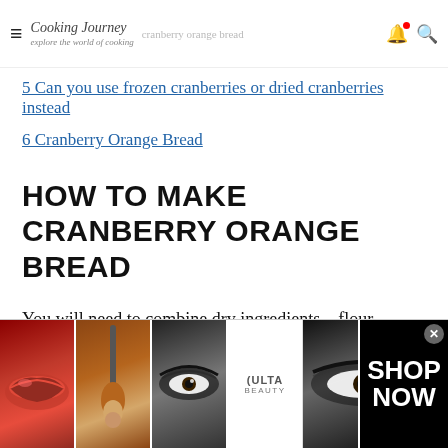Cooking Journey – explore the world of cooking | cranberry orange bread
5  Can you use frozen cranberries or dried cranberries instead
6  Cranberry Orange Bread
HOW TO MAKE CRANBERRY ORANGE BREAD
You will need to combine dry ingredients – flour, baking powder and ground aromatic spices – cinnamon, ginger, nutmeg and cloves. To avoid any
[Figure (advertisement): ULTA Beauty advertisement banner with makeup images (lips, brush, eyes) and SHOP NOW text]